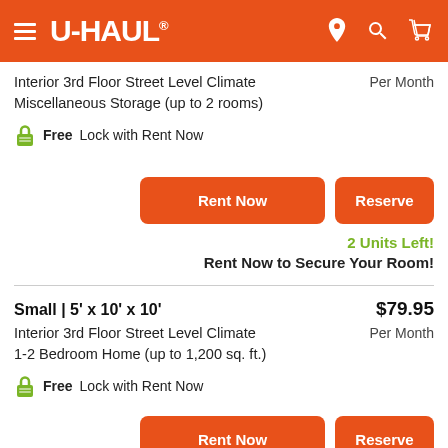U-HAUL
Interior 3rd Floor Street Level Climate Miscellaneous Storage (up to 2 rooms)
Per Month
Free Lock with Rent Now
Rent Now
Reserve
2 Units Left!
Rent Now to Secure Your Room!
Small | 5' x 10' x 10'
$79.95
Per Month
Interior 3rd Floor Street Level Climate
1-2 Bedroom Home (up to 1,200 sq. ft.)
Free Lock with Rent Now